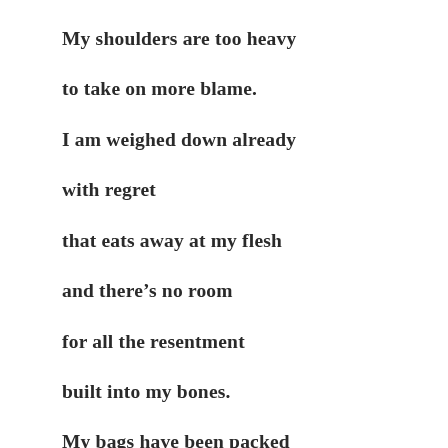My shoulders are too heavy
to take on more blame.
I am weighed down already
with regret
that eats away at my flesh
and there’s no room
for all the resentment
built into my bones.
My bags have been packed